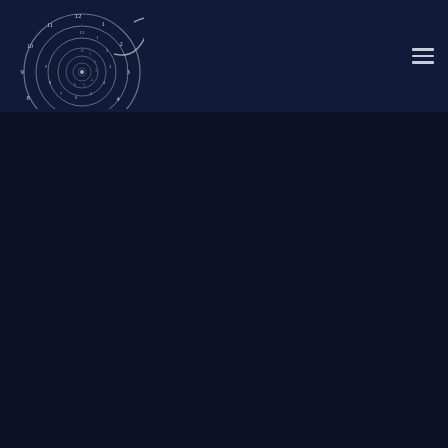[Figure (logo): Times City logo: a spiral clock image with clock numerals arranged in a nautilus/spiral shell shape, with the text 'Times City' in italic serif font below, rendered in silver/white on dark navy background]
[Figure (other): Hamburger menu icon with three horizontal lines, positioned in upper right corner of the header bar]